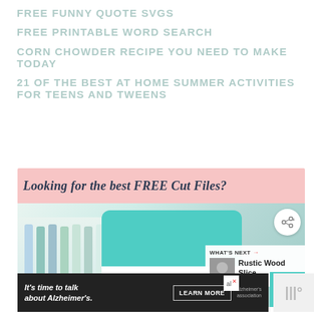FREE FUNNY QUOTE SVGS
FREE PRINTABLE WORD SEARCH
CORN CHOWDER RECIPE YOU NEED TO MAKE TODAY
21 OF THE BEST AT HOME SUMMER ACTIVITIES FOR TEENS AND TWEENS
[Figure (infographic): Pink banner reading 'Looking for the best FREE Cut Files?' above a photo of a Cricut Joy cutting machine with colorful markers, a share button, a 'What's Next: Rustic Wood Slice...' panel, and a teal square.]
[Figure (infographic): Dark advertisement banner reading 'It's time to talk about Alzheimer's.' with a Learn More button and Alzheimer's Association logo.]